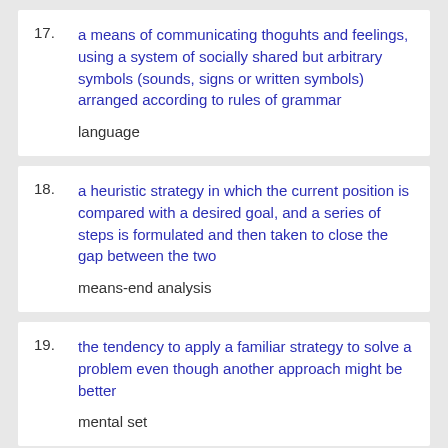17. a means of communicating thoguhts and feelings, using a system of socially shared but arbitrary symbols (sounds, signs or written symbols) arranged according to rules of grammar
language
18. a heuristic strategy in which the current position is compared with a desired goal, and a series of steps is formulated and then taken to close the gap between the two
means-end analysis
19. the tendency to apply a familiar strategy to solve a problem even though another approach might be better
mental set